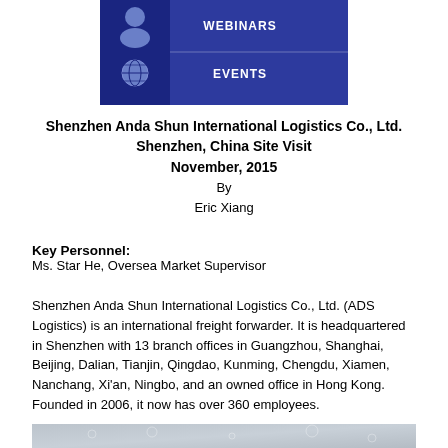[Figure (illustration): Blue banner with icons showing WEBINARS and EVENTS sections. Left side has a person icon for WEBINARS row and a globe icon for EVENTS row, on a dark blue background.]
Shenzhen Anda Shun International Logistics Co., Ltd.
Shenzhen, China Site Visit
November, 2015
By
Eric Xiang
Key Personnel:
Ms. Star He, Oversea Market Supervisor
Shenzhen Anda Shun International Logistics Co., Ltd. (ADS Logistics) is an international freight forwarder. It is headquartered in Shenzhen with 13 branch offices in Guangzhou, Shanghai, Beijing, Dalian, Tianjin, Qingdao, Kunming, Chengdu, Xiamen, Nanchang, Xi'an, Ningbo, and an owned office in Hong Kong. Founded in 2006, it now has over 360 employees.
[Figure (photo): Photo of logistics facility or warehouse interior, partially visible at bottom of page.]